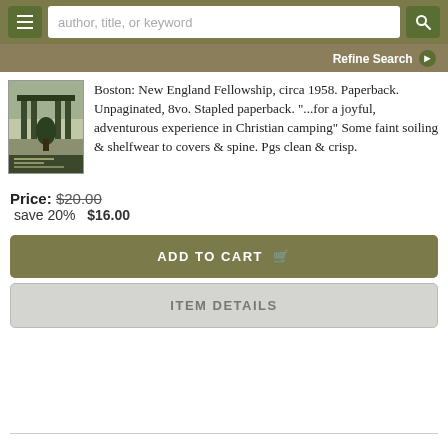author, title, or keyword
Refine Search
[Figure (photo): Small book cover thumbnail showing a building/architectural scene in dark green tones]
Boston: New England Fellowship, circa 1958. Paperback. Unpaginated, 8vo. Stapled paperback. "...for a joyful, adventurous experience in Christian camping" Some faint soiling & shelfwear to covers & spine. Pgs clean & crisp.
Price: $20.00
save 20%   $16.00
ADD TO CART
ITEM DETAILS